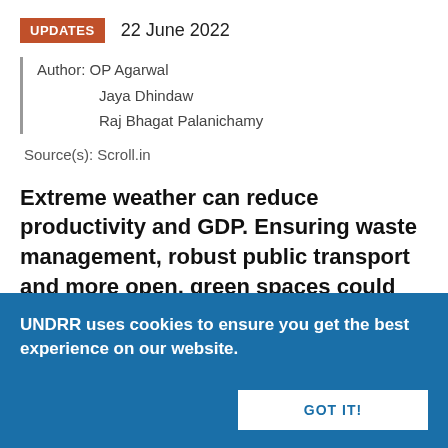UPDATES   22 June 2022
Author: OP Agarwal
        Jaya Dhindaw
        Raj Bhagat Palanichamy
Source(s): Scroll.in
Extreme weather can reduce productivity and GDP. Ensuring waste management, robust public transport and more open, green spaces could bring some respite.
Over the past month, Rani has been exhausted all the time. As the mercury has soared beyond 42 degrees Celsius in Delhi, life in her...
UNDRR uses cookies to ensure you get the best experience on our website.